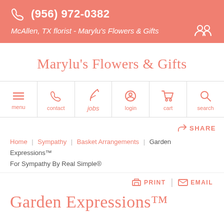(956) 972-0382 | McAllen, TX florist - Marylu's Flowers & Gifts
Marylu's Flowers & Gifts
[Figure (other): Navigation bar with icons: menu, contact, jobs, login, cart, search]
SHARE
Home  Sympathy  Basket Arrangements  Garden Expressions™ For Sympathy By Real Simple®
PRINT  EMAIL
Garden Expressions™